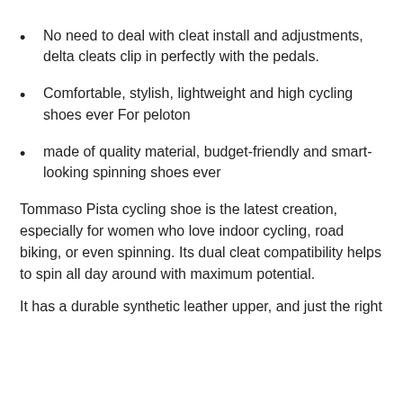No need to deal with cleat install and adjustments, delta cleats clip in perfectly with the pedals.
Comfortable, stylish, lightweight and high cycling shoes ever For peloton
made of quality material, budget-friendly and smart-looking spinning shoes ever
Tommaso Pista cycling shoe is the latest creation, especially for women who love indoor cycling, road biking, or even spinning. Its dual cleat compatibility helps to spin all day around with maximum potential.
It has a durable synthetic leather upper, and just the right